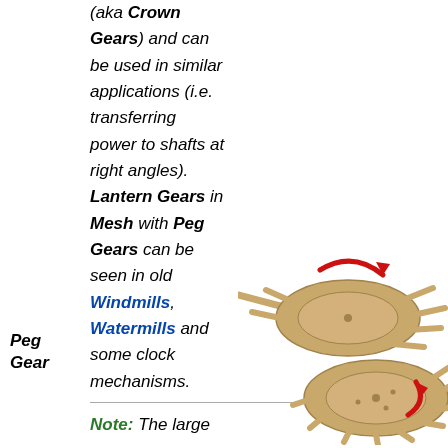(aka Crown Gears) and can be used in similar applications (i.e. transferring power to shafts at right angles). Lantern Gears in Mesh with Peg Gears can be seen in old Windmills, Watermills and some clock mechanisms.
Peg Gear
[Figure (illustration): Two peg gears (lantern gears) meshing together, shown as tan/beige cylindrical discs with cylindrical pegs protruding from their edges. Red curved arrows indicate rotation directions — one gear rotating counterclockwise and one clockwise. A shaft is shown entering one of the gears from the left side.]
Note: The large